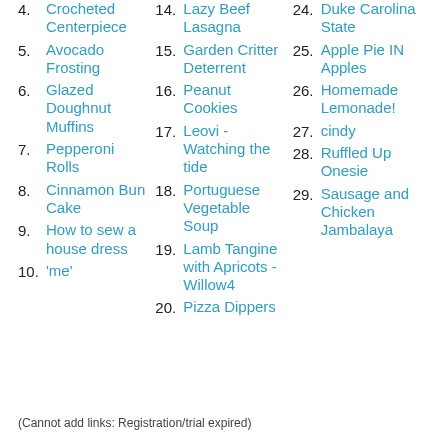4. Crocheted Centerpiece
5. Avocado Frosting
6. Glazed Doughnut Muffins
7. Pepperoni Rolls
8. Cinnamon Bun Cake
9. How to sew a house dress
10. 'me'
14. Lazy Beef Lasagna
15. Garden Critter Deterrent
16. Peanut Cookies
17. Leovi - Watching the tide
18. Portuguese Vegetable Soup
19. Lamb Tangine with Apricots - Willow4
20. Pizza Dippers
24. Duke Carolina State
25. Apple Pie IN Apples
26. Homemade Lemonade!
27. cindy
28. Ruffled Up Onesie
29. Sausage and Chicken Jambalaya
(Cannot add links: Registration/trial expired)